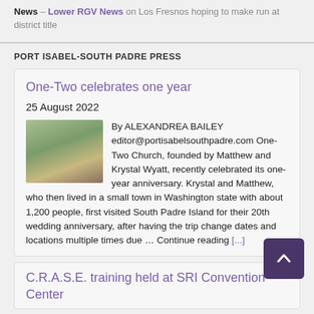News – Lower RGV News on Los Fresnos hoping to make run at district title
PORT ISABEL-SOUTH PADRE PRESS
One-Two celebrates one year
25 August 2022
By ALEXANDREA BAILEY editor@portisabelsouthpadre.com One-Two Church, founded by Matthew and Krystal Wyatt, recently celebrated its one-year anniversary. Krystal and Matthew, who then lived in a small town in Washington state with about 1,200 people, first visited South Padre Island for their 20th wedding anniversary, after having the trip change dates and locations multiple times due … Continue reading [...]
C.R.A.S.E. training held at SRI Convention Center